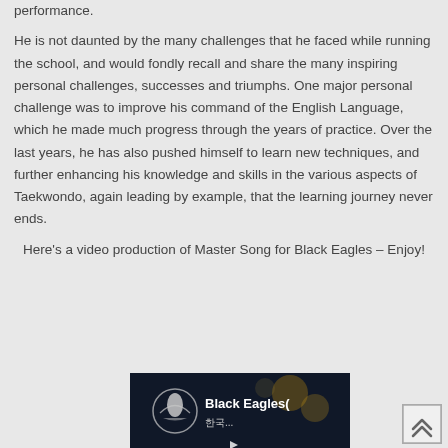performance.
He is not daunted by the many challenges that he faced while running the school, and would fondly recall and share the many inspiring personal challenges, successes and triumphs. One major personal challenge was to improve his command of the English Language, which he made much progress through the years of practice. Over the last years, he has also pushed himself to learn new techniques, and further enhancing his knowledge and skills in the various aspects of Taekwondo, again leading by example, that the learning journey never ends.
Here's a video production of Master Song for Black Eagles – Enjoy!
[Figure (screenshot): Video thumbnail showing Black Eagles with logo and Korean text]